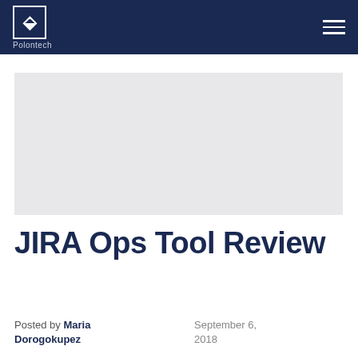Polontech
[Figure (photo): Light grey hero image placeholder for JIRA Ops Tool Review article]
JIRA Ops Tool Review
Posted by Maria Dorogokupez
September 6, 2018